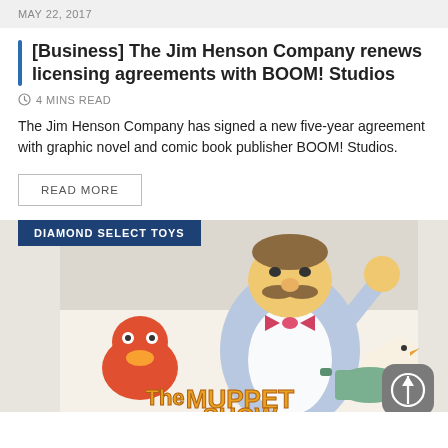MAY 22, 2017
[Business] The Jim Henson Company renews licensing agreements with BOOM! Studios
4 MINS READ
The Jim Henson Company has signed a new five-year agreement with graphic novel and comic book publisher BOOM! Studios.
READ MORE
DIAMOND SELECT TOYS
[Figure (illustration): Cartoon illustration of The Muppet Show characters including Swedish Chef and other Muppets with 'The Muppet Show' text at the bottom]